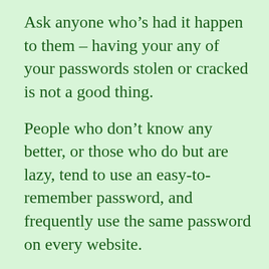Ask anyone who’s had it happen to them – having your any of your passwords stolen or cracked is not a good thing.
People who don’t know any better, or those who do but are lazy, tend to use an easy-to-remember password, and frequently use the same password on every website.
There’s an excellent article in